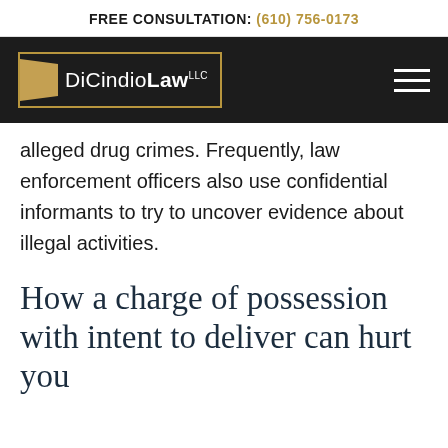FREE CONSULTATION: (610) 756-0173
[Figure (logo): DiCindio Law LLC logo with gold D-shape icon on dark background, gold border, white text]
alleged drug crimes. Frequently, law enforcement officers also use confidential informants to try to uncover evidence about illegal activities.
How a charge of possession with intent to deliver can hurt you